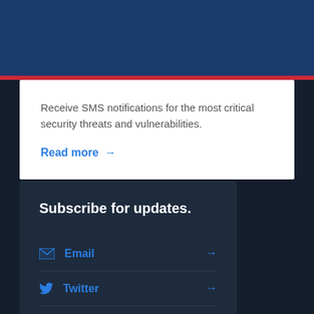[Figure (other): Dark blue header banner bar]
Receive SMS notifications for the most critical security threats and vulnerabilities.
Read more →
Subscribe for updates.
Email →
Twitter →